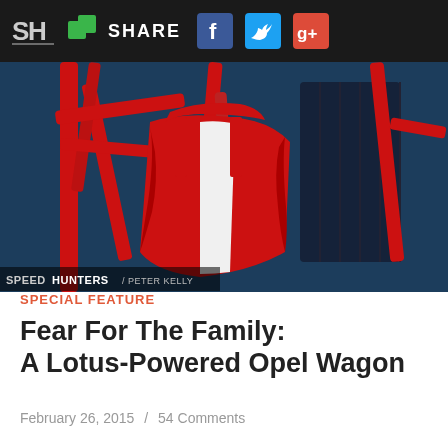SH SHARE [Facebook] [Twitter] [Google+]
[Figure (photo): Close-up of a red roll cage and red/white racing bucket seat (Sparco) in a blue car interior. Speedhunters / Peter Kelly watermark in lower left.]
SPECIAL FEATURE
Fear For The Family: A Lotus-Powered Opel Wagon
February 26, 2015  /  54 Comments
[Figure (photo): Dark interior/chassis detail of a car, showing black roll cage bars and window, bokeh background.]